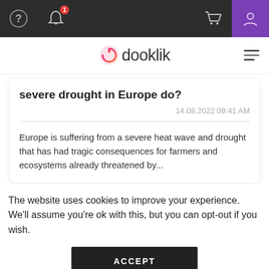dooklik navigation bar with question icon, notification bell (badge: 1), cart icon, and user icon
[Figure (logo): dooklik logo with circular power-button icon in pink/orange gradient and text 'dooklik' in dark gray]
severe drought in Europe do?
14.08.2022 09:41 AM
Europe is suffering from a severe heat wave and drought that has had tragic consequences for farmers and ecosystems already threatened by...
[Figure (illustration): Banner with purple-to-orange gradient background and partial view of a book or device illustration]
The website uses cookies to improve your experience. We'll assume you're ok with this, but you can opt-out if you wish.
ACCEPT